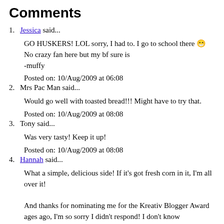Comments
1. Jessica said...

GO HUSKERS! LOL sorry, I had to. I go to school there 😀
No crazy fan here but my bf sure is
-muffy

Posted on: 10/Aug/2009 at 06:08
2. Mrs Pac Man said...

Would go well with toasted bread!!! Might have to try that.

Posted on: 10/Aug/2009 at 08:08
3. Tony said...

Was very tasty! Keep it up!

Posted on: 10/Aug/2009 at 08:08
4. Hannah said...

What a simple, delicious side! If it's got fresh corn in it, I'm all over it!

And thanks for nominating me for the Kreativ Blogger Award ages ago, I'm so sorry I didn't respond! I don't know